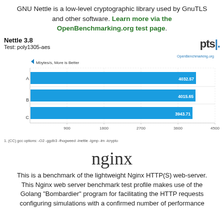GNU Nettle is a low-level cryptographic library used by GnuTLS and other software. Learn more via the OpenBenchmarking.org test page.
[Figure (bar-chart): Nettle 3.8 — Test: poly1305-aes]
1. (CC) gcc options: -O2 -ggdb3 -fhogweed -lnettle -lgmp -lm -lcrypto
nginx
This is a benchmark of the lightweight Nginx HTTP(S) web-server. This Nginx web server benchmark test profile makes use of the Golang "Bombardier" program for facilitating the HTTP requests configuring simulations with a confirmed number of performance